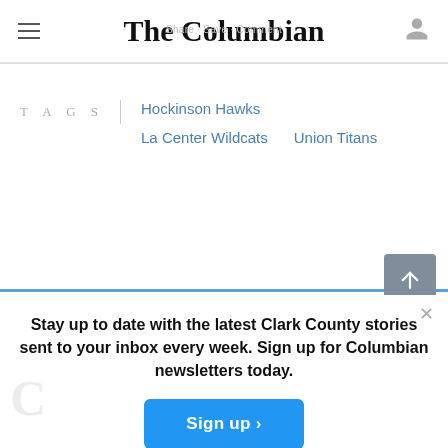The Columbian
TAGS
Hockinson Hawks
La Center Wildcats
Union Titans
Stay up to date with the latest Clark County stories sent to your inbox every week. Sign up for Columbian newsletters today.
Sign up >